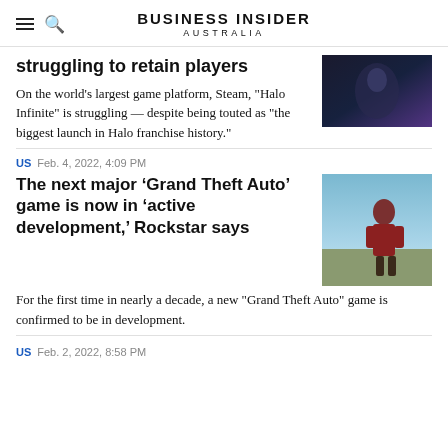BUSINESS INSIDER AUSTRALIA
...struggling to retain players
On the world's largest game platform, Steam, "Halo Infinite" is struggling &mdash; despite being touted as "the biggest launch in Halo franchise history."
US  Feb. 4, 2022, 4:09 PM
The next major ‘Grand Theft Auto’ game is now in ‘active development,’ Rockstar says
For the first time in nearly a decade, a new "Grand Theft Auto" game is confirmed to be in development.
US  Feb. 2, 2022, 8:58 PM